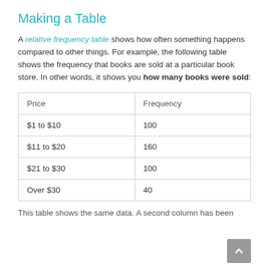Making a Table
A relative frequency table shows how often something happens compared to other things. For example, the following table shows the frequency that books are sold at a particular book store. In other words, it shows you how many books were sold:
| Price | Frequency |
| --- | --- |
| $1 to $10 | 100 |
| $11 to $20 | 160 |
| $21 to $30 | 100 |
| Over $30 | 40 |
This table shows the same data. A second column has been